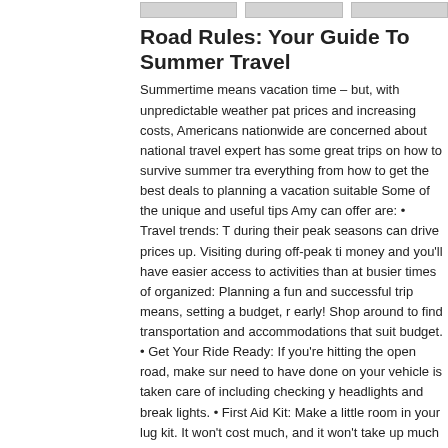[Figure (other): Three gray thumbnail images in a row at the top]
Road Rules: Your Guide To Summer Travel
Summertime means vacation time – but, with unpredictable weather pat prices and increasing costs, Americans nationwide are concerned about national travel expert has some great trips on how to survive summer tr everything from how to get the best deals to planning a vacation suitable Some of the unique and useful tips Amy can offer are: • Travel trends: T during their peak seasons can drive prices up. Visiting during off-peak ti money and you'll have easier access to activities than at busier times of organized: Planning a fun and successful trip means, setting a budget, r early! Shop around to find transportation and accommodations that suit budget. • Get Your Ride Ready: If you're hitting the open road, make su need to have done on your vehicle is taken care of including checking y headlights and break lights. • First Aid Kit: Make a little room in your lug kit. It won't cost much, and it won't take up much space but it can certain
Tags // travel tips guide summer vacation booking com planning multivu 8106881
Categories // Miscellaneous
Added: 1899 days ago by MultiVuVideos
Runtime: 2m51s | Views: 359 | Comments: 1
Not yet rated
[Figure (other): Three gray thumbnail images in a row for second article]
Miral Reveals First-Glimpse Of Warner Bros
Miral, Abu Dhabi's leading creator of destinations, announced today th